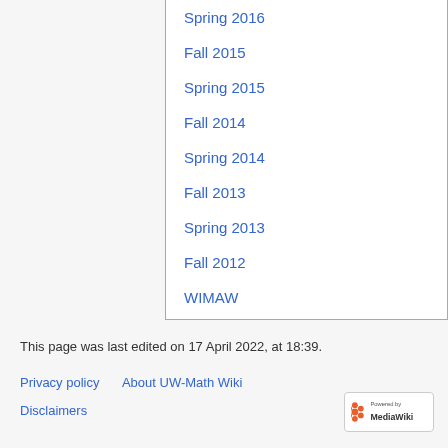Spring 2016
Fall 2015
Spring 2015
Fall 2014
Spring 2014
Fall 2013
Spring 2013
Fall 2012
WIMAW
This page was last edited on 17 April 2022, at 18:39.
Privacy policy   About UW-Math Wiki
Disclaimers